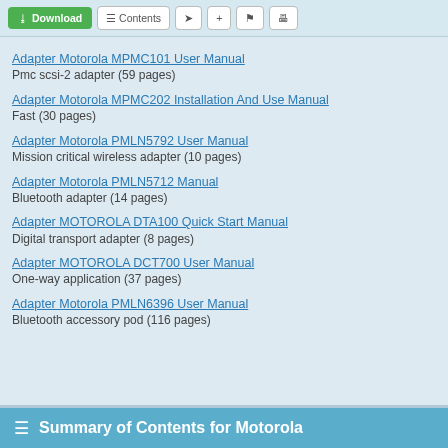Adapter Motorola MPMC101 User Manual
Pmc scsi-2 adapter (59 pages)
Adapter Motorola MPMC202 Installation And Use Manual
Fast (30 pages)
Adapter Motorola PMLN5792 User Manual
Mission critical wireless adapter (10 pages)
Adapter Motorola PMLN5712 Manual
Bluetooth adapter (14 pages)
Adapter MOTOROLA DTA100 Quick Start Manual
Digital transport adapter (8 pages)
Adapter MOTOROLA DCT700 User Manual
One-way application (37 pages)
Adapter Motorola PMLN6396 User Manual
Bluetooth accessory pod (116 pages)
Summary of Contents for Motorola